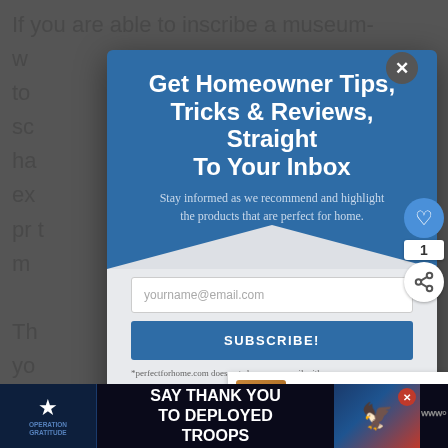If you are able to inscribe a museum-w... to... sc... ha... ex... pr... m...
[Figure (screenshot): Email subscription popup modal with blue header reading 'Get Homeowner Tips, Tricks & Reviews, Straight To Your Inbox', subtext 'Stay informed as we recommend and highlight the products that are perfect for home.', email input field with placeholder 'yourname@email.com', and a blue SUBSCRIBE! button. Footer fine print: '*perfectforhome.com does not share your email with']
Th... yo... un... to... ve b...
[Figure (screenshot): WHAT'S NEXT -> '6 Fresh Ideas for DIY...' banner on the right side]
[Figure (screenshot): Bottom advertisement bar: Operation Gratitude - SAY THANK YOU TO DEPLOYED TROOPS]